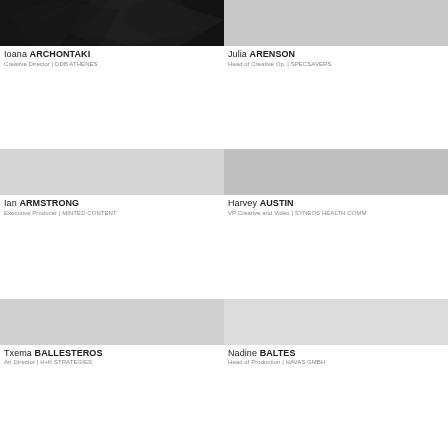[Figure (photo): Black and white photo of Ioana Archontaki, dark abstract background]
Ioana ARCHONTAKI
Creative Director | DDB ATHENES
[Figure (photo): Photo placeholder for Julia Arenson, light grey]
Julia ARENSON
Head of Creative Op. | SPECSAVERS
[Figure (photo): Photo placeholder for Ian Armstrong, light grey]
Ian ARMSTRONG
Executive Producer | MINTED CONTENT
[Figure (photo): Photo placeholder for Harvey Austin, light grey]
Harvey AUSTIN
VP Creative and Video | SYNEOS HEALTH COMM
[Figure (photo): Photo placeholder for Txema Ballesteros, light grey]
Txema BALLESTEROS
Art Director | H+K STRATEGIES
[Figure (photo): Photo placeholder for Nadine Baltes, light grey]
Nadine BALTES
Head of Production | HAVAS GMBH